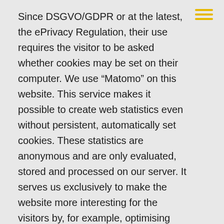Since DSGVO/GDPR or at the latest, the ePrivacy Regulation, their use requires the visitor to be asked whether cookies may be set on their computer. We use “Matomo” on this website. This service makes it possible to create web statistics even without persistent, automatically set cookies. These statistics are anonymous and are only evaluated, stored and processed on our server. It serves us exclusively to make the website more interesting for the visitors by, for example, optimising content according to their needs.